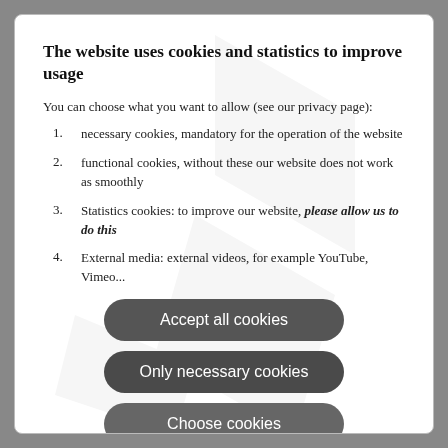The website uses cookies and statistics to improve usage
You can choose what you want to allow (see our privacy page):
necessary cookies, mandatory for the operation of the website
functional cookies, without these our website does not work as smoothly
Statistics cookies: to improve our website, please allow us to do this
External media: external videos, for example YouTube, Vimeo...
Accept all cookies
Only necessary cookies
Choose cookies
Imprint   Data Protection